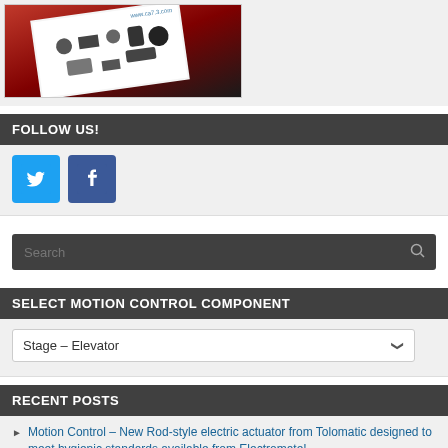[Figure (photo): Product catalog image showing various motion control parts on a red background]
FOLLOW US!
[Figure (logo): Twitter and Facebook social media icons]
Search
SELECT MOTION CONTROL COMPONENT
Stage – Elevator
RECENT POSTS
Motion Control – New Rod-style electric actuator from Tolomatic designed to meet hygienic standards available from Electromate!